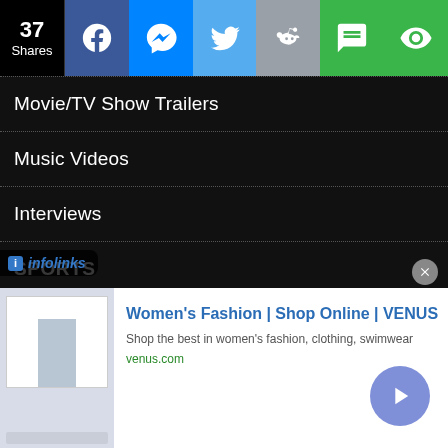[Figure (infographic): Social share bar with 37 Shares count, Facebook, Messenger, Twitter, Reddit, SMS, and another share button icons]
Movie/TV Show Trailers
Music Videos
Interviews
SPORTS
VIRAL VIDEOS
SHOP
DOWNLOAD APP
RATCHETFRIDAYMEDIA NEWSLETTER
CONTACT
[Figure (screenshot): Infolinks logo bar at bottom left]
[Figure (screenshot): Advertisement banner: Women's Fashion | Shop Online | VENUS - Shop the best in women's fashion, clothing, swimwear - venus.com]